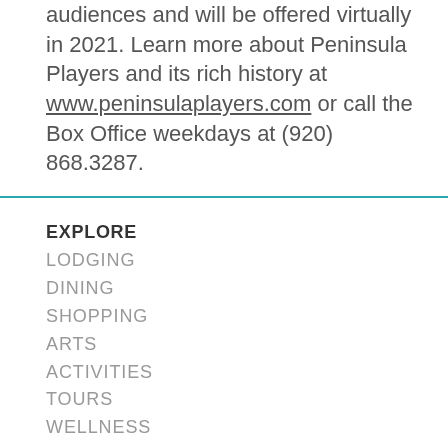audiences and will be offered virtually in 2021. Learn more about Peninsula Players and its rich history at www.peninsulaplayers.com or call the Box Office weekdays at (920) 868.3287.
EXPLORE
LODGING
DINING
SHOPPING
ARTS
ACTIVITIES
TOURS
WELLNESS